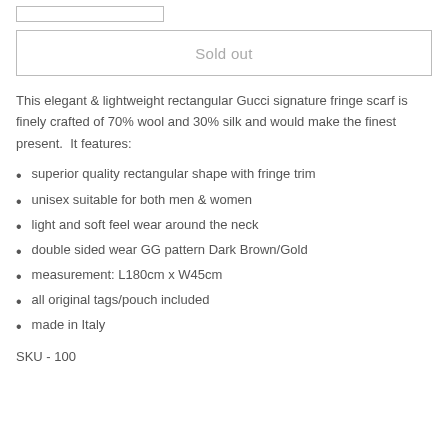[Figure (other): Small rectangular outline bar at top left]
Sold out
This elegant & lightweight rectangular Gucci signature fringe scarf is finely crafted of 70% wool and 30% silk and would make the finest present.  It features:
superior quality rectangular shape with fringe trim
unisex suitable for both men & women
light and soft feel wear around the neck
double sided wear GG pattern Dark Brown/Gold
measurement: L180cm x W45cm
all original tags/pouch included
made in Italy
SKU - 100